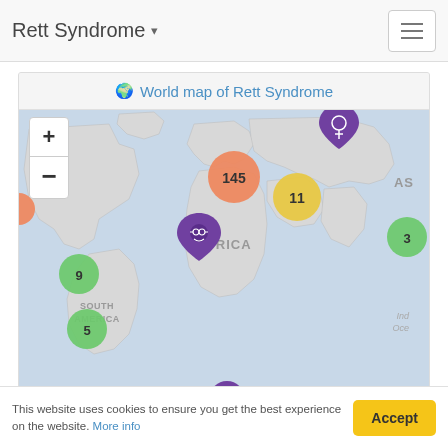Rett Syndrome
[Figure (map): World map of Rett Syndrome showing geographic distribution of cases. Clusters displayed as colored circles with numbers: orange circle labeled 145 (Europe), yellow circle labeled 11 (Middle East/Turkey region), green circle labeled 3 (Indian Ocean/Asia region), green circle labeled 9 (South America), green circle labeled 5 (South America). Purple pin markers indicate individual case locations in Russia/Eastern Europe and Africa/coastal region. Zoom controls (+/-) are shown on the left side.]
This website uses cookies to ensure you get the best experience on the website. More info